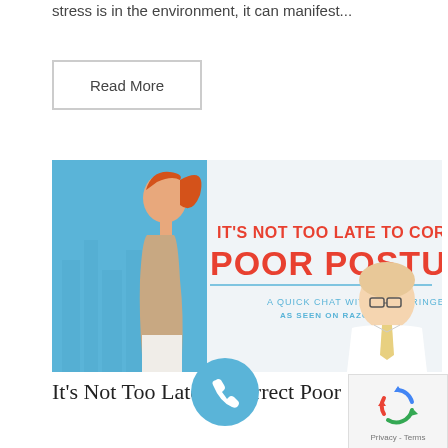stress is in the environment, it can manifest...
Read More
[Figure (photo): Promotional health infographic showing a woman with poor posture in side view on the left and a doctor on the right. Text reads: IT'S NOT TOO LATE TO CORRECT POOR POSTURE. A QUICK CHAT WITH DR. STRINGER AS SEEN ON RAZORCAST]
It’s Not Too Late to Correct Poor